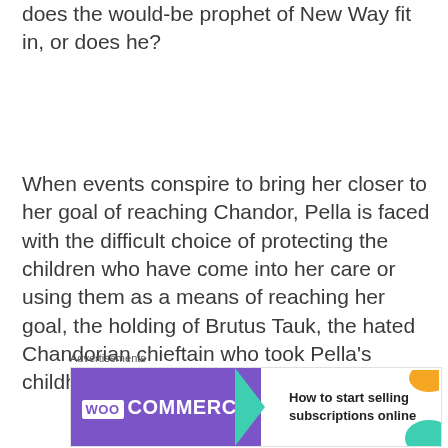does the would-be prophet of New Way fit in, or does he?
When events conspire to bring her closer to her goal of reaching Chandor, Pella is faced with the difficult choice of protecting the children who have come into her care or using them as a means of reaching her goal, the holding of Brutus Tauk, the hated Chandorian chieftain who took Pella’s childhood away.
[Figure (other): WooCommerce advertisement banner: purple left panel with WooCommerce logo, teal arrow/chevron, white right panel with text 'How to start selling subscriptions online', orange and teal decorative shapes]
Advertisements
REPORT THIS AD